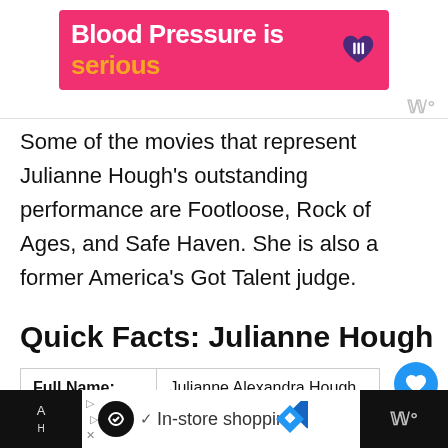[Figure (other): Pink advertisement banner reading 'Blood Pressure is serious' with heart icon]
Some of the movies that represent Julianne Hough's outstanding performance are Footloose, Rock of Ages, and Safe Haven. She is also a former America's Got Talent judge.
Quick Facts: Julianne Hough
|  |  |
| --- | --- |
| Full Name: | Julianne Alexandra Hough |
| NickName: | Jules |
| Birth Date: | July 20, 1988 |
[Figure (other): Bottom advertisement bar with 'In-store shopping' text and navigation icons]